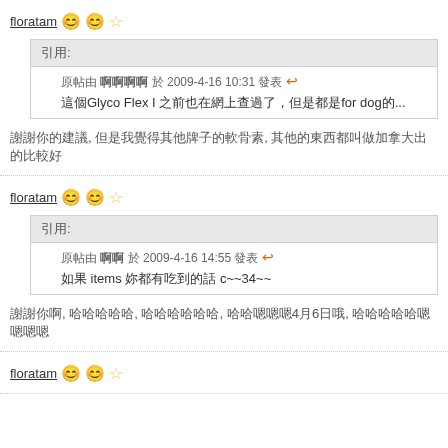floratam 😊😊☆
引用: 原帖由 啊啊啊啊 於 2009-4-16 10:31 發表 → 這個Glyco Flex I 之前也在網上查過了，但是都是for dog的...
謝謝你的建議, 但是我覺得其他牌子的軟骨素, 其他的東西都叫做加拿大出的比較好
floratam 😊😊☆
引用: 原帖由 啊啊 於 2009-4-16 14:55 發表 → 如果 items 妳都有吃到的話  c~~34~~
謝謝你啊, 哈哈哈哈哈, 哈哈哈哈哈哈, 哈哈嗯嗯嗯4月6日哦, 哈哈哈哈哈嗯嗯嗯嗯
floratam 😊😊☆